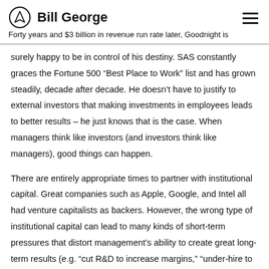Bill George
Forty years and $3 billion in revenue run rate later, Goodnight is surely happy to be in control of his destiny. SAS constantly graces the Fortune 500 “Best Place to Work” list and has grown steadily, decade after decade. He doesn’t have to justify to external investors that making investments in employees leads to better results – he just knows that is the case. When managers think like investors (and investors think like managers), good things can happen.
There are entirely appropriate times to partner with institutional capital. Great companies such as Apple, Google, and Intel all had venture capitalists as backers. However, the wrong type of institutional capital can lead to many kinds of short-term pressures that distort management’s ability to create great long-term results (e.g. “cut R&D to increase margins,” “under-hire to show profit